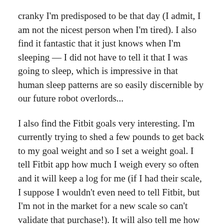cranky I'm predisposed to be that day (I admit, I am not the nicest person when I'm tired). I also find it fantastic that it just knows when I'm sleeping — I did not have to tell it that I was going to sleep, which is impressive in that human sleep patterns are so easily discernible by our future robot overlords...
I also find the Fitbit goals very interesting. I'm currently trying to shed a few pounds to get back to my goal weight and so I set a weight goal. I tell Fitbit app how much I weigh every so often and it will keep a log for me (if I had their scale, I suppose I wouldn't even need to tell Fitbit, but I'm not in the market for a new scale so can't validate that purchase!). It will also tell me how many calories I should eat to make my goal weight in the given period of time I told it I want to get there. What's really great about the Fitbit app is that it integrates rather nicely with MyFitnessPal, which already has a fantastic